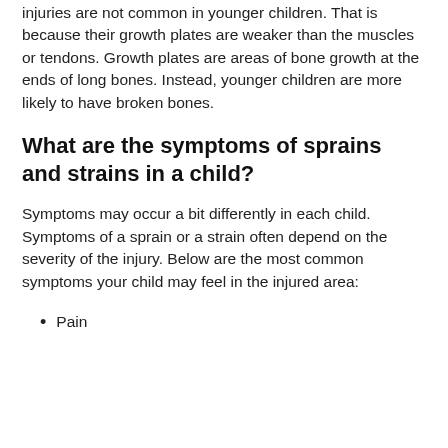injuries are not common in younger children. That is because their growth plates are weaker than the muscles or tendons. Growth plates are areas of bone growth at the ends of long bones. Instead, younger children are more likely to have broken bones.
What are the symptoms of sprains and strains in a child?
Symptoms may occur a bit differently in each child. Symptoms of a sprain or a strain often depend on the severity of the injury. Below are the most common symptoms your child may feel in the injured area:
Pain